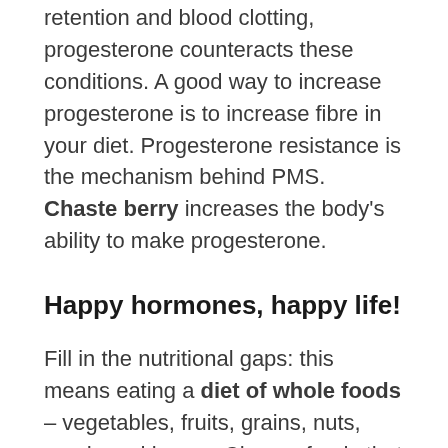retention and blood clotting, progesterone counteracts these conditions. A good way to increase progesterone is to increase fibre in your diet. Progesterone resistance is the mechanism behind PMS. Chaste berry increases the body's ability to make progesterone.
Happy hormones, happy life!
Fill in the nutritional gaps: this means eating a diet of whole foods – vegetables, fruits, grains, nuts, seeds and beans. Choose foods that are easily digestible. Food base-load foods with mini-vitamins...